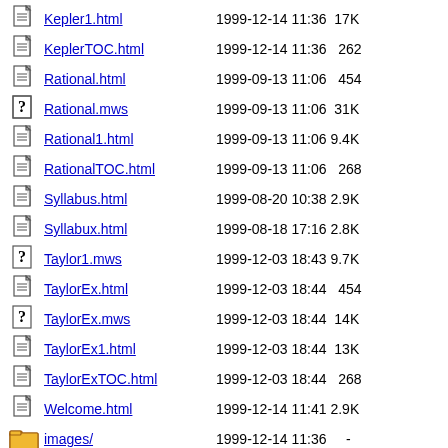Kepler1.html  1999-12-14 11:36  17K
KeplerTOC.html  1999-12-14 11:36  262
Rational.html  1999-09-13 11:06  454
Rational.mws  1999-09-13 11:06  31K
Rational1.html  1999-09-13 11:06 9.4K
RationalTOC.html  1999-09-13 11:06  268
Syllabus.html  1999-08-20 10:38 2.9K
Syllabux.html  1999-08-18 17:16 2.8K
Taylor1.mws  1999-12-03 18:43 9.7K
TaylorEx.html  1999-12-03 18:44  454
TaylorEx.mws  1999-12-03 18:44  14K
TaylorEx1.html  1999-12-03 18:44  13K
TaylorExTOC.html  1999-12-03 18:44  268
Welcome.html  1999-12-14 11:41 2.9K
images/  1999-12-14 11:36  -
Apache/2.4.29 (Ubuntu) Server at www.math.clemson.edu Port 80